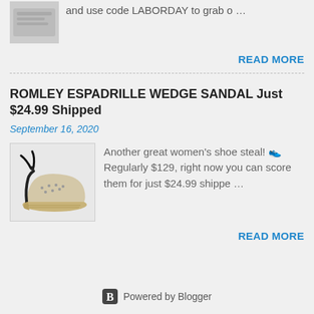and use code LABORDAY to grab o …
READ MORE
ROMLEY ESPADRILLE WEDGE SANDAL Just $24.99 Shipped
September 16, 2020
[Figure (photo): Espadrille wedge sandal with black ankle tie straps and woven sole]
Another great women's shoe steal! 👟 Regularly $129, right now you can score them for just $24.99 shippe …
READ MORE
Powered by Blogger